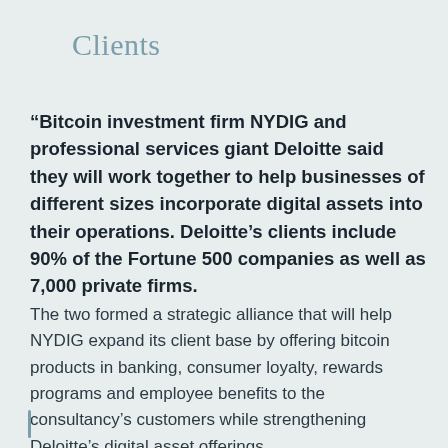Clients
“Bitcoin investment firm NYDIG and professional services giant Deloitte said they will work together to help businesses of different sizes incorporate digital assets into their operations. Deloitte’s clients include 90% of the Fortune 500 companies as well as 7,000 private firms.
The two formed a strategic alliance that will help NYDIG expand its client base by offering bitcoin products in banking, consumer loyalty, rewards programs and employee benefits to the consultancy’s customers while strengthening Deloitte’s digital asset offerings.